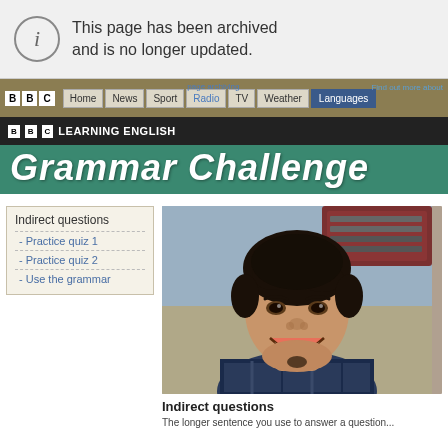This page has been archived and is no longer updated.
BBC | Home | News | Sport | Radio | TV | Weather | Languages | Find out more about page archiving
BBC LEARNING ENGLISH
Grammar Challenge
Indirect questions
- Practice quiz 1
- Practice quiz 2
- Use the grammar
[Figure (photo): A smiling young Asian man with dark tousled hair, wearing a dark plaid shirt, photographed in front of a blurred background with signage]
Indirect questions
The longer sentence you use to answer a question...